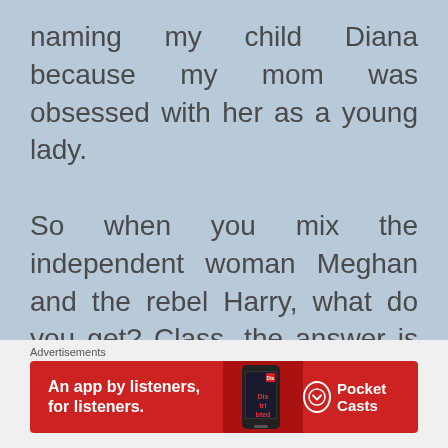naming my child Diana because my mom was obsessed with her as a young lady.

So when you mix the independent woman Meghan and the rebel Harry, what do you get? Class, the answer is a revolution. If Meghan and Harry do in-fact become financially independent of the crown, then this could be a major precedent for all royal families. That's
Advertisements
[Figure (other): Red advertisement banner for Pocket Casts app: 'An app by listeners, for listeners.' with phone graphic and Pocket Casts logo]